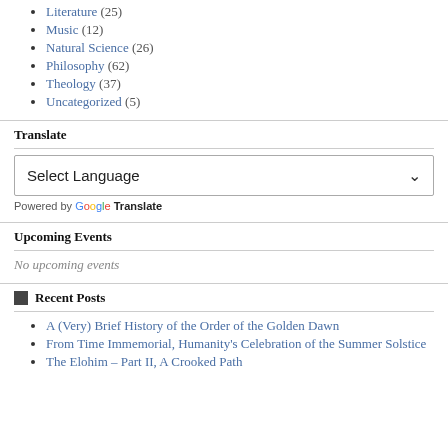Literature (25)
Music (12)
Natural Science (26)
Philosophy (62)
Theology (37)
Uncategorized (5)
Translate
Select Language
Powered by Google Translate
Upcoming Events
No upcoming events
Recent Posts
A (Very) Brief History of the Order of the Golden Dawn
From Time Immemorial, Humanity's Celebration of the Summer Solstice
The Elohim – Part II, A Crooked Path